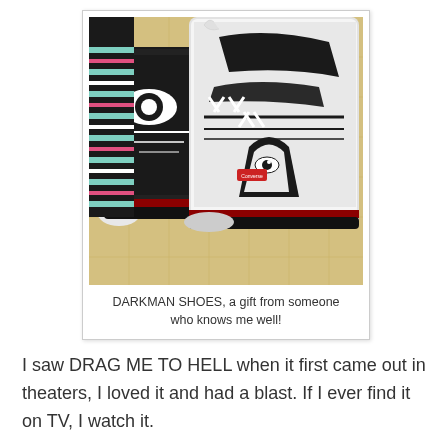[Figure (photo): Photo of two Converse-style high-top sneakers with black and white Darkman artwork drawn on them, worn with colorful striped socks (black, teal, pink, white stripes), resting on a yellow quilted surface.]
DARKMAN SHOES, a gift from someone who knows me well!
I saw DRAG ME TO HELL when it first came out in theaters, I loved it and had a blast. If I ever find it on TV, I watch it.